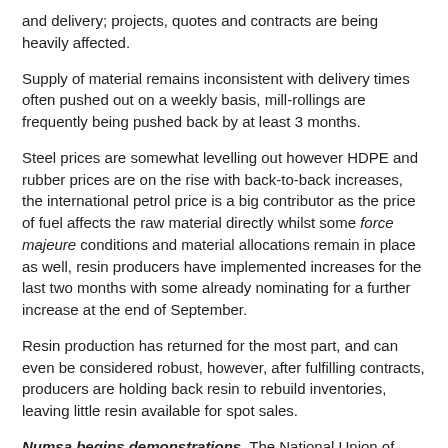and delivery; projects, quotes and contracts are being heavily affected.
Supply of material remains inconsistent with delivery times often pushed out on a weekly basis, mill-rollings are frequently being pushed back by at least 3 months.
Steel prices are somewhat levelling out however HDPE and rubber prices are on the rise with back-to-back increases, the international petrol price is a big contributor as the price of fuel affects the raw material directly whilst some force majeure conditions and material allocations remain in place as well, resin producers have implemented increases for the last two months with some already nominating for a further increase at the end of September.
Resin production has returned for the most part, and can even be considered robust, however, after fulfilling contracts, producers are holding back resin to rebuild inventories, leaving little resin available for spot sales.
Numsa begins demonstrations, The National Union of Metalworkers of South Africa has started with nationwide demonstrations, while wage negotiations with the Steel and Engineering Industries Federation of Southern Africa are ongoing.
It is noted that the nationwide demonstrations, so far, are peaceful